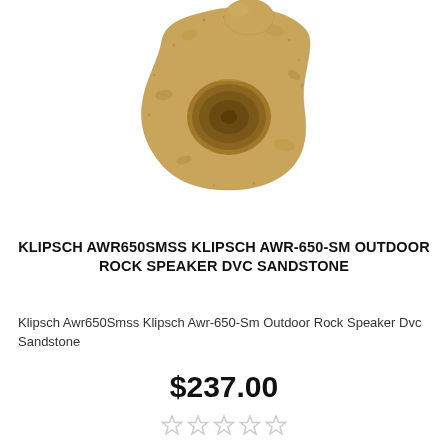[Figure (photo): A sandstone-colored rock speaker (Klipsch AWR-650-SM) photographed against a white background. The speaker is designed to look like a natural rock, with a tan/sandy textured surface and a visible circular speaker driver opening on the front face.]
KLIPSCH AWR650SMSS KLIPSCH AWR-650-SM OUTDOOR ROCK SPEAKER DVC SANDSTONE
Klipsch Awr650Smss Klipsch Awr-650-Sm Outdoor Rock Speaker Dvc Sandstone
$237.00
[Figure (other): Five empty star rating icons (unfilled, light gray) indicating no reviews or a zero star rating.]